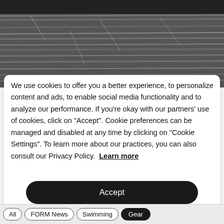[Figure (photo): Black and white blurred motion photo of water or road surface with horizontal streaks]
We use cookies to offer you a better experience, to personalize content and ads, to enable social media functionality and to analyze our performance. If you're okay with our partners' use of cookies, click on "Accept". Cookie preferences can be managed and disabled at any time by clicking on "Cookie Settings". To learn more about our practices, you can also consult our Privacy Policy.  Learn more
Accept
Cookie Settings
All   FORM News   Swimming   Gear